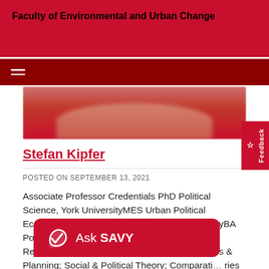Faculty of Environmental and Urban Change
Stefan Kipfer
POSTED ON SEPTEMBER 13, 2021
Associate Professor Credentials PhD Political Science, York UniversityMES Urban Political Economy and Ecological Politics, York UniversityBA Political Science and French, York University Research Keywords Urbanization; Urban Politics & Planning; Social & Political Theory; Comparati... ries Of Space, Politics & ...ology; Marxism; Anti-colo...sm. Graduate Supervision Interests in the...
[Figure (photo): Cropped photo of Stefan Kipfer showing the lower portion of a face with a reddish background]
[Figure (logo): Ask SAVY chatbot button overlay in red with white text and logo icon]